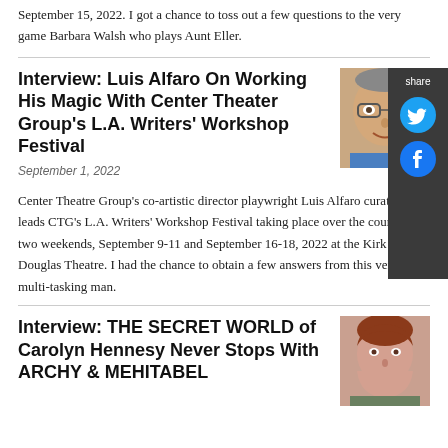September 15, 2022. I got a chance to toss out a few questions to the very game Barbara Walsh who plays Aunt Eller.
Interview: Luis Alfaro On Working His Magic With Center Theater Group's L.A. Writers' Workshop Festival
September 1, 2022
[Figure (photo): Headshot photo of Luis Alfaro, a man with glasses smiling]
[Figure (infographic): Share panel with Twitter and Facebook icons on dark background]
Center Theatre Group's co-artistic director playwright Luis Alfaro curates and leads CTG's L.A. Writers' Workshop Festival taking place over the course of two weekends, September 9-11 and September 16-18, 2022 at the Kirk Douglas Theatre. I had the chance to obtain a few answers from this very busy, multi-tasking man.
Interview: THE SECRET WORLD of Carolyn Hennesy Never Stops With ARCHY & MEHITABEL
[Figure (photo): Headshot photo of Carolyn Hennesy, a woman with short reddish hair]